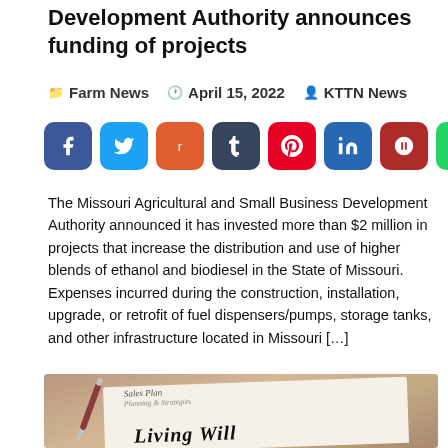Development Authority announces funding of projects
Farm News  April 15, 2022  KTTN News
[Figure (other): Social share buttons for Facebook, Twitter, Reddit, Tumblr, Pinterest, LinkedIn, Parler, WhatsApp]
The Missouri Agricultural and Small Business Development Authority announced it has invested more than $2 million in projects that increase the distribution and use of higher blends of ethanol and biodiesel in the State of Missouri. Expenses incurred during the construction, installation, upgrade, or retrofit of fuel dispensers/pumps, storage tanks, and other infrastructure located in Missouri […]
[Figure (photo): Photo of a pen resting on a document that reads 'Sales Plan' with text below, and in the foreground a document titled 'Living Will' on a wooden surface]